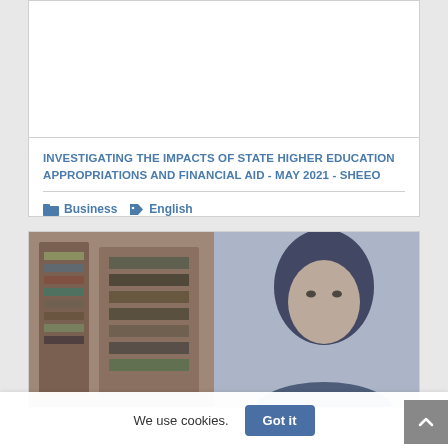[Figure (other): Blank white image area at the top of a document listing card]
INVESTIGATING THE IMPACTS OF STATE HIGHER EDUCATION APPROPRIATIONS AND FINANCIAL AID - MAY 2021 - SHEEO
Business   English
[Figure (photo): Photo of a woman with dark hair, partially visible, appearing to be in an indoor setting with shelving or furniture in the background]
We use cookies.
Got it